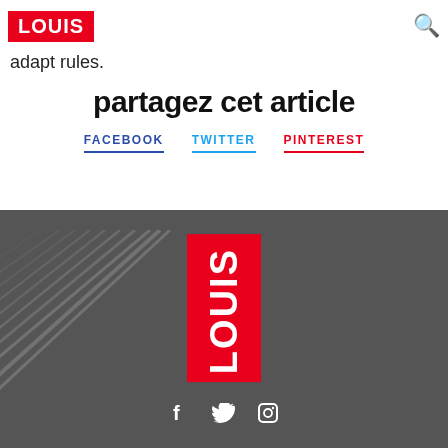LOUIS logo and search icon
adapt rules.
partagez cet article
FACEBOOK   TWITTER   PINTEREST
[Figure (logo): LOUIS logo centered vertically in red rectangle on dark gray background with social media icons (f, Twitter bird, camera) below]
Social icons: Facebook, Twitter, Instagram